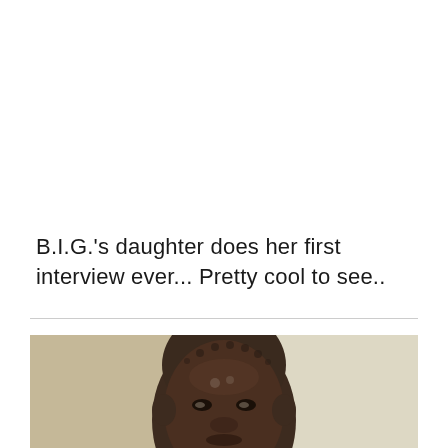B.I.G.'s daughter does her first interview ever... Pretty cool to see..
[Figure (photo): A close-up photo of a person's head and face cropped from the top portion of the image, shown against a beige/off-white wall background.]